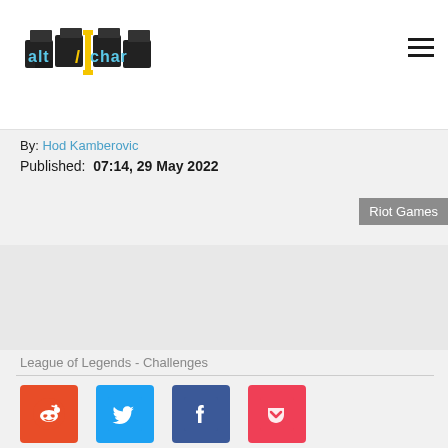AltChar logo and navigation
By: Hod Kamberovic
Published: 07:14, 29 May 2022
Riot Games
[Figure (photo): League of Legends - Challenges image placeholder]
League of Legends - Challenges
[Figure (infographic): Social share buttons: Reddit, Twitter, Facebook, Pocket]